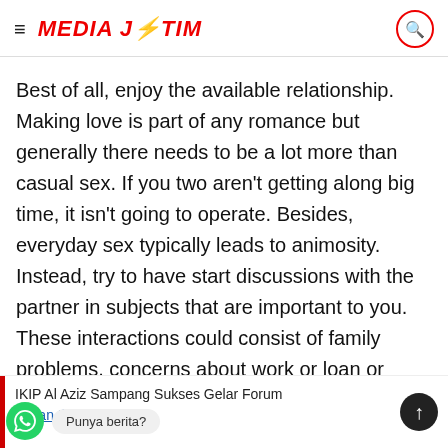MEDIA JATIM
Best of all, enjoy the available relationship. Making love is part of any romance but generally there needs to be a lot more than casual sex. If you two aren't getting along big time, it isn't going to operate. Besides, everyday sex typically leads to animosity. Instead, try to have start discussions with the partner in subjects that are important to you. These interactions could consist of family problems, concerns about work or loan or even with regards to your friends and activities.
IKIP Al Aziz Sampang Sukses Gelar Forum Kajian Ilmiah